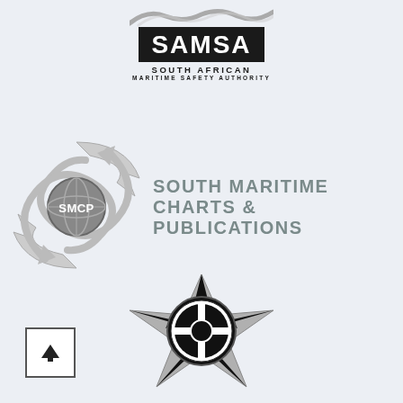[Figure (logo): SAMSA - South African Maritime Safety Authority logo with wave graphic on black background]
[Figure (logo): SMCP - South Maritime Charts & Publications logo with globe and circular arrows]
[Figure (logo): Anglo-Eastern logo with black compass/cross circle emblem and star-burst shape]
[Figure (other): Navigation up-arrow button in square border]